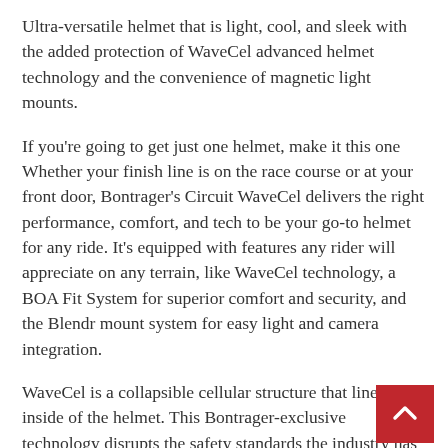Ultra-versatile helmet that is light, cool, and sleek with the added protection of WaveCel advanced helmet technology and the convenience of magnetic light mounts.
If you're going to get just one helmet, make it this one Whether your finish line is on the race course or at your front door, Bontrager's Circuit WaveCel delivers the right performance, comfort, and tech to be your go-to helmet for any ride. It's equipped with features any rider will appreciate on any terrain, like WaveCel technology, a BOA Fit System for superior comfort and security, and the Blendr mount system for easy light and camera integration.
WaveCel is a collapsible cellular structure that lines the inside of the helmet. This Bontrager-exclusive technology disrupts the safety standards the industry has accepted for over 30 years.
Product details
WaveCel advanced helmet technology